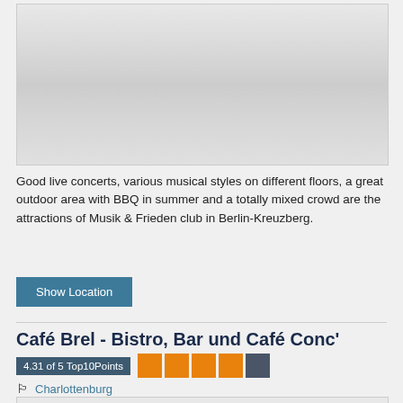[Figure (photo): Blurred/placeholder image with light gray gradient background, showing interior of a venue]
Good live concerts, various musical styles on different floors, a great outdoor area with BBQ in summer and a totally mixed crowd are the attractions of Musik & Frieden club in Berlin-Kreuzberg.
Show Location
Café Brel - Bistro, Bar und Café Conc'
4.31 of 5 Top10Points
Charlottenburg
Bars with live music
[Figure (photo): Partially visible bottom image, gray background]